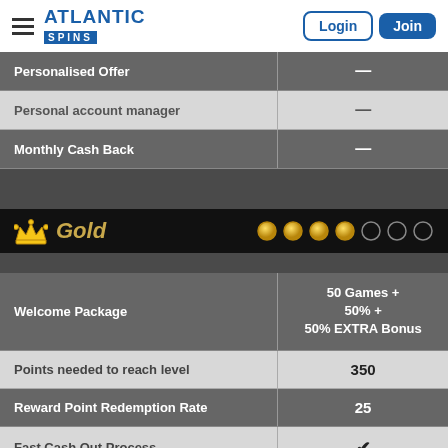Atlantic Spins — Login | Join
| Feature | Value |
| --- | --- |
| Personalised Offer | — |
| Personal account manager | — |
| Monthly Cash Back | — |
Gold
| Feature | Value |
| --- | --- |
| Welcome Package | 50 Games + 50% + 50% EXTRA Bonus |
| Points needed to reach level | 350 |
| Reward Point Redemption Rate | 25 |
| Fast Cash Out Process | ✔ |